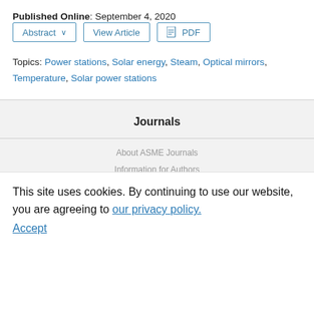Published Online: September 4, 2020
Abstract  View Article  PDF
Topics: Power stations, Solar energy, Steam, Optical mirrors, Temperature, Solar power stations
Journals
About ASME Journals
Information for Authors
Submit a Paper
Call for Papers
This site uses cookies. By continuing to use our website, you are agreeing to our privacy policy. Accept